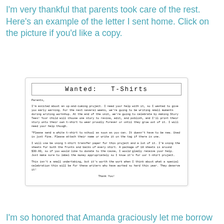I'm very thankful that parents took care of the rest.  Here's an example of the letter I sent home.  Click on the picture if you'd like a copy.
[Figure (photo): A scanned letter on white paper with a hand-drawn title 'Wanted: T-Shirts' in a decorative box at the top. The letter is addressed to 'Parents,' and describes an upcoming t-shirt project tied to a writing workshop. It requests donation of white t-shirts and mentions t-shirt transfer paper. The letter closes with 'Thank You!']
I'm so honored that Amanda graciously let me borrow